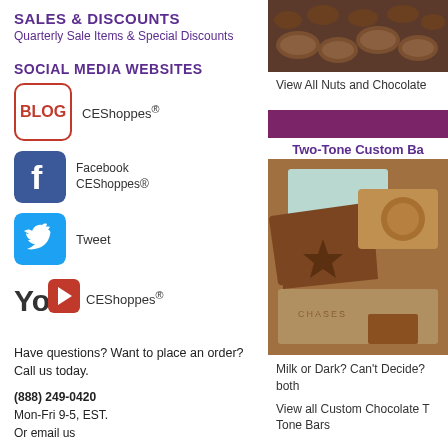SALES & DISCOUNTS
Quarterly Sale Items & Special Discounts
SOCIAL MEDIA WEBSITES
[Figure (logo): Blog icon with CEShoppes registered trademark]
[Figure (logo): Facebook CEShoppes® icon]
[Figure (logo): Twitter Tweet icon]
[Figure (logo): YouTube CEShoppes® icon]
Have questions? Want to place an order? Call us today.
(888) 249-0420
Mon-Fri 9-5, EST.
Or email us
[Figure (photo): Nuts and chocolate photo at top right]
View All Nuts and Chocolate
[Figure (photo): Two-tone custom chocolate bars photo showing milk and dark chocolate with star and coin designs]
Two-Tone Custom Ba
Milk or Dark? Can't Decide? both
View all Custom Chocolate T Tone Bars